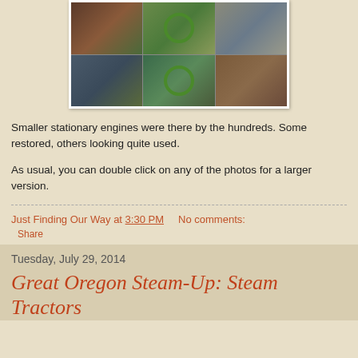[Figure (photo): Collage of six photos showing smaller stationary engines at an outdoor show, some green with metal wheels, displayed on grass]
Smaller stationary engines were there by the hundreds. Some restored, others looking quite used.
As usual, you can double click on any of the photos for a larger version.
Just Finding Our Way at 3:30 PM    No comments:
Share
Tuesday, July 29, 2014
Great Oregon Steam-Up: Steam Tractors